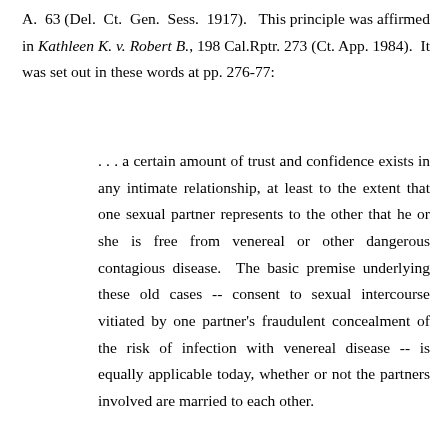A. 63 (Del. Ct. Gen. Sess. 1917). This principle was affirmed in Kathleen K. v. Robert B., 198 Cal.Rptr. 273 (Ct. App. 1984). It was set out in these words at pp. 276-77:
. . . a certain amount of trust and confidence exists in any intimate relationship, at least to the extent that one sexual partner represents to the other that he or she is free from venereal or other dangerous contagious disease. The basic premise underlying these old cases -- consent to sexual intercourse vitiated by one partner's fraudulent concealment of the risk of infection with venereal disease -- is equally applicable today, whether or not the partners involved are married to each other.